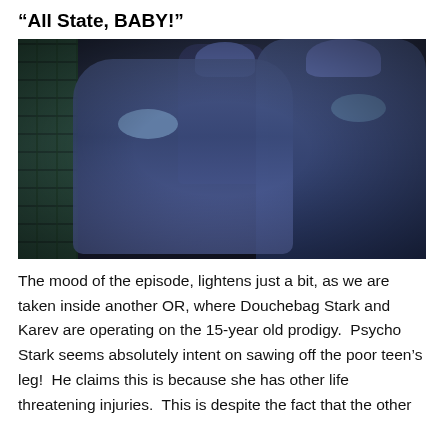“All State, BABY!”
[Figure (photo): Screenshot from a medical TV show (likely Grey's Anatomy) showing three people in blue surgical scrubs and masks in an operating room corridor. Two figures face each other in the foreground while a third stands in the background.]
The mood of the episode, lightens just a bit, as we are taken inside another OR, where Douchebag Stark and Karev are operating on the 15-year old prodigy.  Psycho Stark seems absolutely intent on sawing off the poor teen’s leg!  He claims this is because she has other life threatening injuries.  This is despite the fact that the other